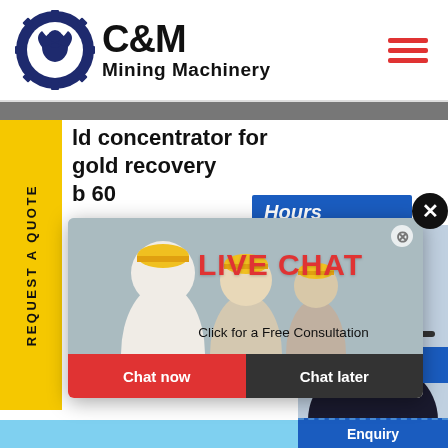[Figure (logo): C&M Mining Machinery logo with eagle gear icon]
ld concentrator for gold recovery b 60
d centrif
trifuge
d Centri
trifuge concentrator is kind cen
centration equipment. It can b
cer gold mining, but also for har
recover the natural gold
[Figure (screenshot): Live Chat popup with workers in hard hats background, LIVE CHAT heading in red, Click for a Free Consultation text, Chat now red button and Chat later dark button]
[Figure (photo): Customer service representative with headset, Click to Chat blue button below]
Enquiry